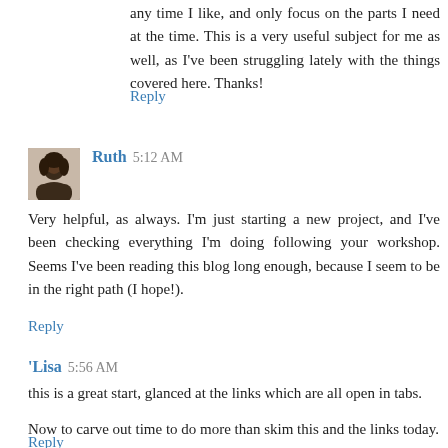any time I like, and only focus on the parts I need at the time. This is a very useful subject for me as well, as I've been struggling lately with the things covered here. Thanks!
Reply
Ruth 5:12 AM
Very helpful, as always. I'm just starting a new project, and I've been checking everything I'm doing following your workshop. Seems I've been reading this blog long enough, because I seem to be in the right path (I hope!).
Reply
'Lisa 5:56 AM
this is a great start, glanced at the links which are all open in tabs.
Now to carve out time to do more than skim this and the links today.
Reply